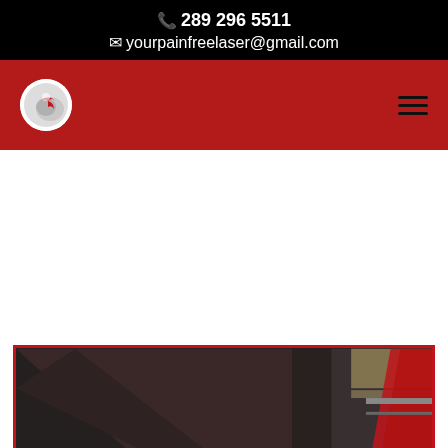📞 289 296 5511
✉ yourpainfreelaser@gmail.com
[Figure (logo): Website navigation bar with circular logo on red background and hamburger menu icon]
[Figure (photo): Interior room photo with dark tones, curtains, and a red accent element visible at the right edge]